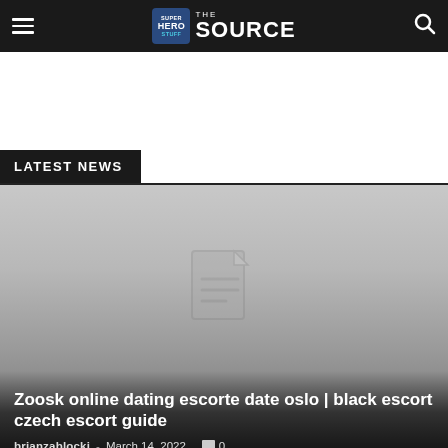SuperHeroStuff THE SOURCE
LATEST NEWS
[Figure (photo): Article thumbnail placeholder image with gray gradient background and document placeholder icon]
Zoosk online dating escorte date oslo | black escort czech escort guide
brianzablocki - March 14, 2022  0